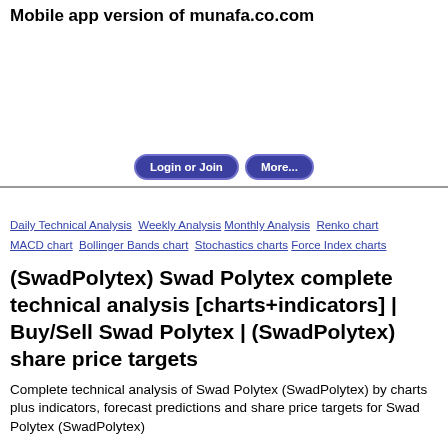Mobile app version of munafa.co.com
[Figure (other): Advertisement/blank area]
Login or Join  More...
Daily Technical Analysis  Weekly Analysis  Monthly Analysis  Renko chart  MACD chart  Bollinger Bands chart  Stochastics charts  Force Index charts
(SwadPolytex) Swad Polytex complete technical analysis [charts+indicators] | Buy/Sell Swad Polytex | (SwadPolytex) share price targets
Complete technical analysis of Swad Polytex (SwadPolytex) by charts plus indicators, forecast predictions and share price targets for Swad Polytex (SwadPolytex)
Showing technical analysis as on 2022-05-22 View latest